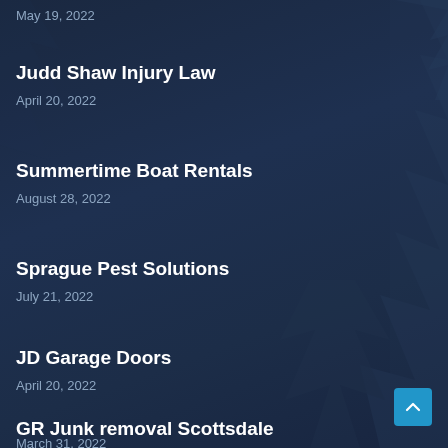May 19, 2022
Judd Shaw Injury Law
April 20, 2022
Summertime Boat Rentals
August 28, 2022
Sprague Pest Solutions
July 21, 2022
JD Garage Doors
April 20, 2022
GR Junk removal Scottsdale
March 31, 2022